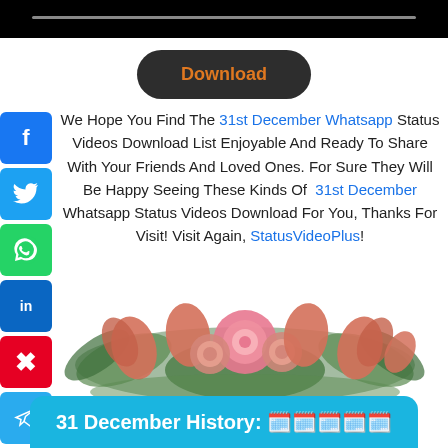[Figure (screenshot): Black video player bar at top with progress bar]
[Figure (other): Dark rounded Download button with orange text]
We Hope You Find The 31st December Whatsapp Status Videos Download List Enjoyable And Ready To Share With Your Friends And Loved Ones. For Sure They Will Be Happy Seeing These Kinds Of 31st December Whatsapp Status Videos Download For You, Thanks For Visit! Visit Again, StatusVideoPlus!
[Figure (illustration): Decorative floral arrangement with pink roses and tulips]
31 December History: 🗓️🗓️🗓️🗓️🗓️